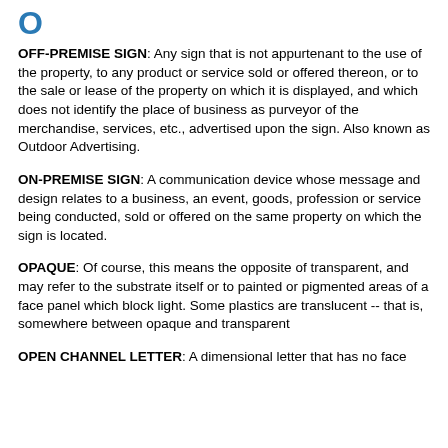O
OFF-PREMISE SIGN: Any sign that is not appurtenant to the use of the property, to any product or service sold or offered thereon, or to the sale or lease of the property on which it is displayed, and which does not identify the place of business as purveyor of the merchandise, services, etc., advertised upon the sign. Also known as Outdoor Advertising.
ON-PREMISE SIGN: A communication device whose message and design relates to a business, an event, goods, profession or service being conducted, sold or offered on the same property on which the sign is located.
OPAQUE: Of course, this means the opposite of transparent, and may refer to the substrate itself or to painted or pigmented areas of a face panel which block light. Some plastics are translucent -- that is, somewhere between opaque and transparent
OPEN CHANNEL LETTER: A dimensional letter that has no face